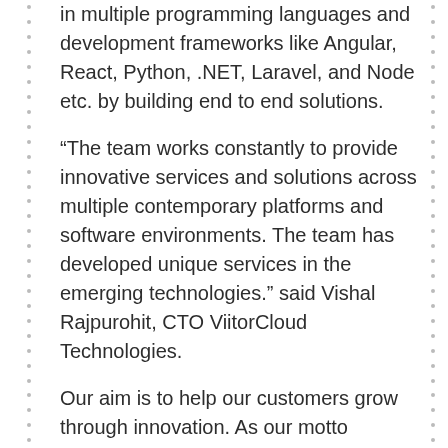in multiple programming languages and development frameworks like Angular, React, Python, .NET, Laravel, and Node etc. by building end to end solutions.
“The team works constantly to provide innovative services and solutions across multiple contemporary platforms and software environments. The team has developed unique services in the emerging technologies.” said Vishal Rajpurohit, CTO ViitorCloud Technologies.
Our aim is to help our customers grow through innovation. As our motto conveys, we are an innovation-centric IT solution provider company, we strive to make the complex simple and to find ways to make the simple awesome.
ViitorCloud Technologies has expanded its product offerings along with the service offerings. To date, we have created six products in the pipeline that targets the